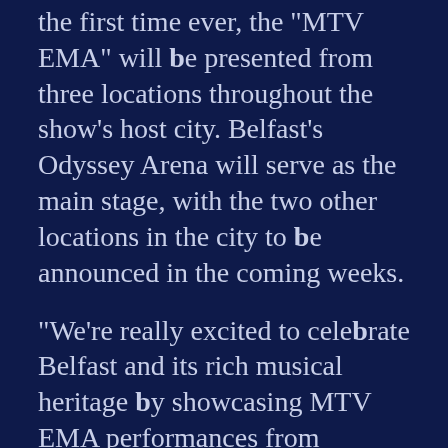the first time ever, the "MTV EMA" will be presented from three locations throughout the show's host city. Belfast's Odyssey Arena will serve as the main stage, with the two other locations in the city to be announced in the coming weeks.
"We're really excited to celebrate Belfast and its rich musical heritage by showcasing MTV EMA performances from multiple sites throughout the city. These three stages will give fans a unique and unprecedented opportunity to experience the live music of the